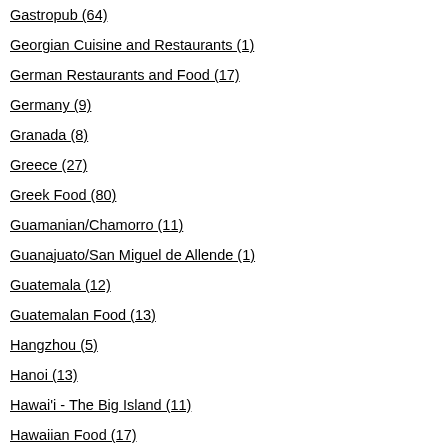Gastropub (64)
Georgian Cuisine and Restaurants (1)
German Restaurants and Food (17)
Germany (9)
Granada (8)
Greece (27)
Greek Food (80)
Guamanian/Chamorro (11)
Guanajuato/San Miguel de Allende (1)
Guatemala (12)
Guatemalan Food (13)
Hangzhou (5)
Hanoi (13)
Hawai'i - The Big Island (11)
Hawaiian Food (17)
Hida-Takayama and Gifu Prefecture (6)
Hiroshima (2)
Hokkaido (9)
[Figure (photo): Close-up photo of a stone plaque/memorial disc with engraved text mentioning Savonarola, set in a paved square. Text on plaque partially visible: SENTENA, FRA GIROLA, COPO, NVGO, MI]
There's an interesting plaque in the square. Girolamo Savonarola was a Dominican Friar whose prophecies and preaching helped to overthrow the Medici family rule (until 1530) and became the defacto leader of the ruling party of Florence. In 1497 Pope Alexander VI excommunicated Savonarola. On Palm Sunday in 1498, Savonarola and his
[Figure (photo): Photo of ornate gothic stone building facade with vertical columns and carved decorative elements, appears to be a cathedral or historic building exterior.]